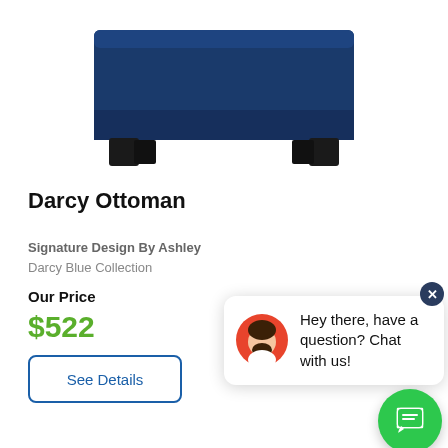[Figure (photo): Partial view of a navy blue upholstered ottoman with dark wooden legs, cropped at top]
Darcy Ottoman
Signature Design By Ashley
Darcy Blue Collection
Our Price
$522
See Details
[Figure (illustration): Live chat popup widget with avatar icon, message 'Hey there, have a question? Chat with us!' and a green chat button]